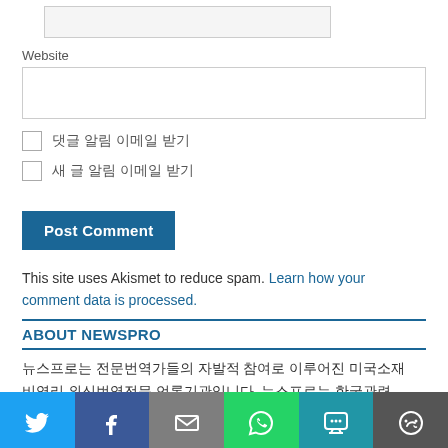[input field top]
Website
[website input field]
댓글 알림 이메일 받기
새 글 알림 이메일 받기
Post Comment
This site uses Akismet to reduce spam. Learn how your comment data is processed.
ABOUT NEWSPRO
뉴스프로는 전문번역가들의 자발적 참여로 이루어진 미국소재 비영리 외신번역전문 언론기관입니다. 뉴스프로는 한국관련 외신을 신속히 번역 홍보하여 독자들에게 국제사회에서 한국관련 이슈들이 어떻게 평가되고 있는지 볼 수 있는 기회를 제공합니다.